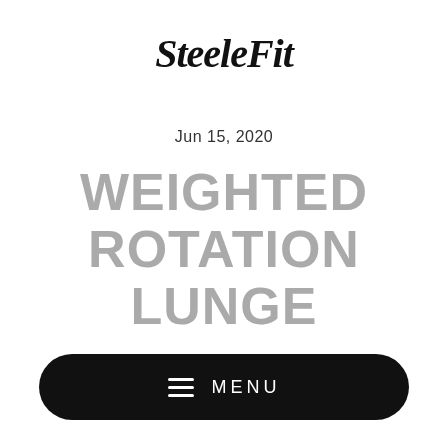SteeleFit
Jun 15, 2020
WEIGHTED ROTATION LUNGE
[Figure (other): Black pill-shaped menu button with hamburger icon and MENU text in white]